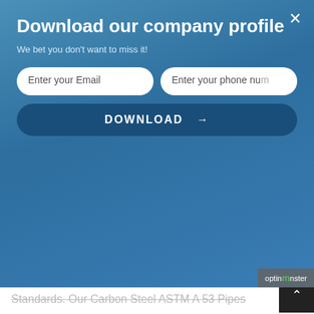Download our company profile
We bet you don't want to miss it!
Enter your Email | Enter your phone number
DOWNLOAD →
Make Sure That The Product Conforms To International Standards. Our Carbon Steel ASTM A 53 Pipes & Tubes & Carbon Steel ASTM SA 53 Pipes & Tubes Are Long Lasting & Are Cost Effective. ASME SA 53 Boiler Pipes & Tubes Are Tough & They Comply To Their Standards & Grades (ASME / ASTM A53 / SA53 Grade A & Grade B Pipes & Tubes)
Click Here To Get Best Price F...